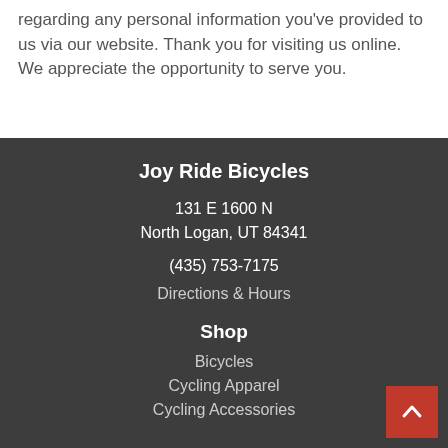regarding any personal information you've provided to us via our website. Thank you for visiting us online. We appreciate the opportunity to serve you.
Joy Ride Bicycles
131 E 1600 N
North Logan, UT 84341
(435) 753-7175
Directions & Hours
Shop
Bicycles
Cycling Apparel
Cycling Accessories